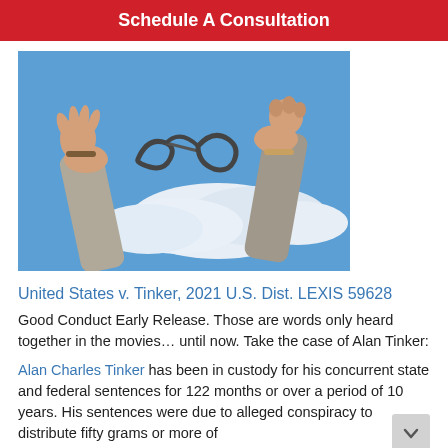Schedule A Consultation
[Figure (photo): Two hands raised against a blue sky with clouds, with broken/open handcuffs falling off the wrists, symbolizing freedom from custody.]
United States v. Tinker, 2021 U.S. Dist. LEXIS 59628
Good Conduct Early Release. Those are words only heard together in the movies… until now. Take the case of Alan Tinker:
Alan Charles Tinker has been in custody for his concurrent state and federal sentences for 122 months or over a period of 10 years. His sentences were due to alleged conspiracy to distribute fifty grams or more of